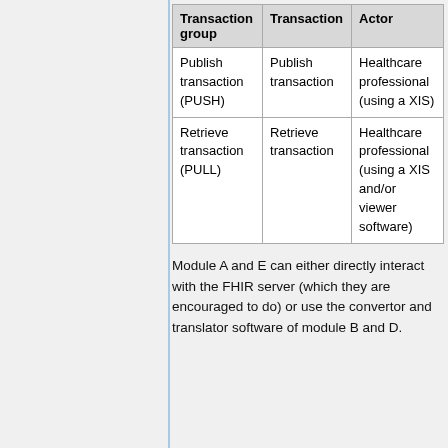| Transaction group | Transaction | Actor |
| --- | --- | --- |
| Publish transaction (PUSH) | Publish transaction | Healthcare professional (using a XIS) |
| Retrieve transaction (PULL) | Retrieve transaction | Healthcare professional (using a XIS and/or viewer software) |
Module A and E can either directly interact with the FHIR server (which they are encouraged to do) or use the convertor and translator software of module B and D.